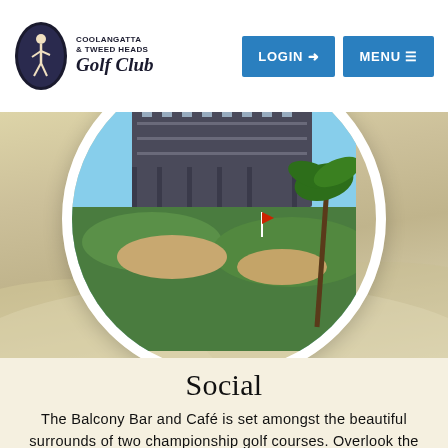Coolangatta & Tweed Heads Golf Club — LOGIN | MENU
[Figure (photo): Aerial/ground view of a golf course with a large multi-story clubhouse building in the background, sand bunkers and green turf in foreground, palm trees, displayed in a circular frame with white border on a sandy/cream background.]
Social
The Balcony Bar and Café is set amongst the beautiful surrounds of two championship golf courses. Overlook the 18th greens whilst